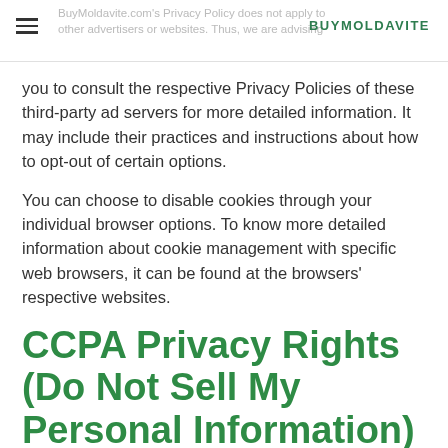BuyMoldavite.com's Privacy Policy does not apply to other advertisers or websites. Thus, we are advising
you to consult the respective Privacy Policies of these third-party ad servers for more detailed information. It may include their practices and instructions about how to opt-out of certain options.
You can choose to disable cookies through your individual browser options. To know more detailed information about cookie management with specific web browsers, it can be found at the browsers' respective websites.
CCPA Privacy Rights (Do Not Sell My Personal Information)